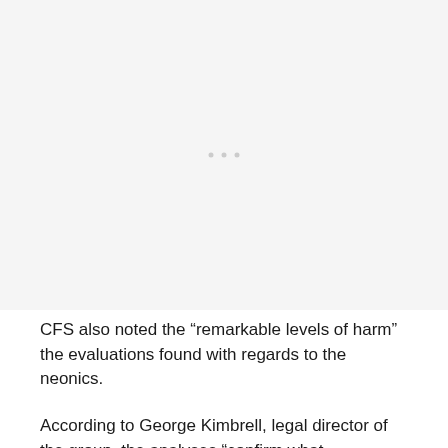[Figure (photo): Placeholder image area, appears blank/light gray with three small dots in the center]
CFS also noted the “remarkable levels of harm” the evaluations found with regards to the neonics.
According to George Kimbrell, legal director of the group, the analyses “confirm what